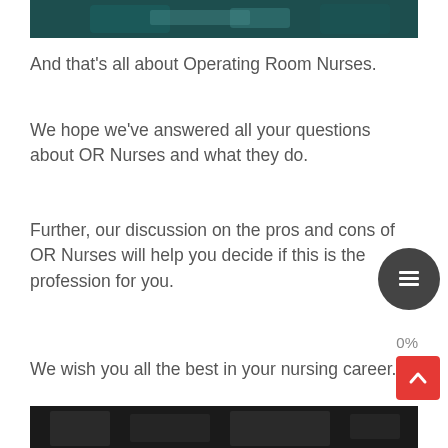[Figure (photo): Top portion of a photo showing medical professionals in scrubs in an operating room setting]
And that’s all about Operating Room Nurses.
We hope we’ve answered all your questions about OR Nurses and what they do.
Further, our discussion on the pros and cons of OR Nurses will help you decide if this is the profession for you.
0%
We wish you all the best in your nursing career.
[Figure (photo): Bottom portion of a photo, partially visible, showing dark background with some figures]